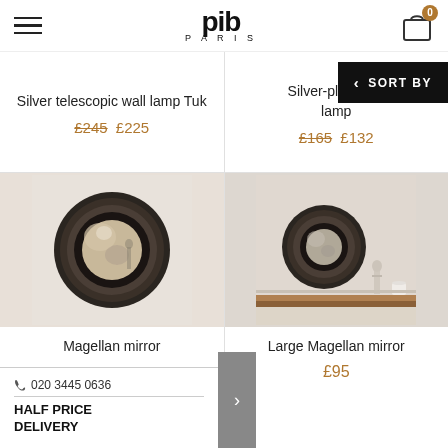pib PARIS
Silver telescopic wall lamp Tuk — £245 £225
Silver-plated he... lamp — £165 £132
[Figure (photo): Magellan mirror convex round black frame close-up, white background]
Magellan mirror
[Figure (photo): Large Magellan mirror convex round black frame on shelf with figurine and cup, warm toned background]
Large Magellan mirror — £95
020 3445 0636 | HALF PRICE DELIVERY